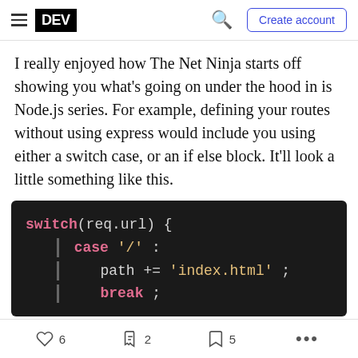DEV — Create account
I really enjoyed how The Net Ninja starts off showing you what's going on under the hood in is Node.js series. For example, defining your routes without using express would include you using either a switch case, or an if else block. It'll look a little something like this.
[Figure (screenshot): Code editor screenshot showing a JavaScript switch statement: switch(req.url) { case '/': path += 'index.html'; break;]
6 likes  2 reactions  5 bookmarks  more options